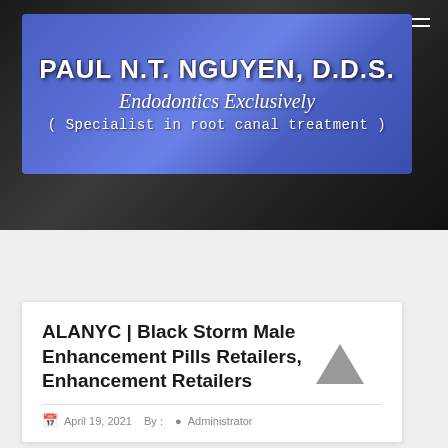[Figure (logo): Paul N.T. Nguyen D.D.S. Endodontics Exclusively dental practice logo on blue gradient background with dark website header]
ALANYC | Black Storm Male Enhancement Pills Retailers, Enhancement Retailers
April 19, 2021  By :  •  Administrator